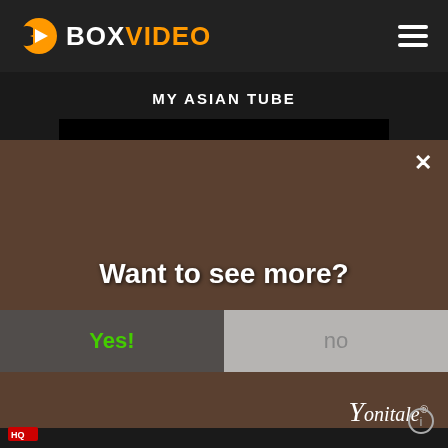[Figure (logo): BoxVideo logo with orange play button icon and white/orange text]
MY ASIAN TUBE
[Figure (screenshot): Video player area showing black screen, with overlay popup showing woman image, 'Want to see more?' text, Yes!/no buttons, and Yonitale watermark]